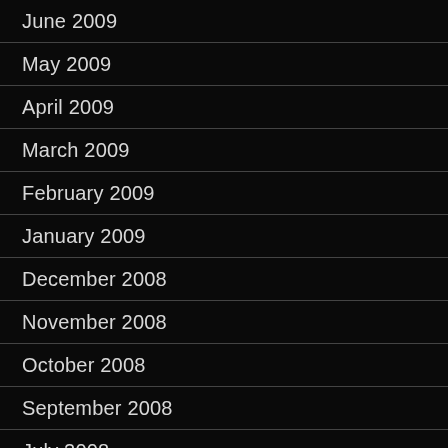June 2009
May 2009
April 2009
March 2009
February 2009
January 2009
December 2008
November 2008
October 2008
September 2008
July 2008
June 2008
May 2008